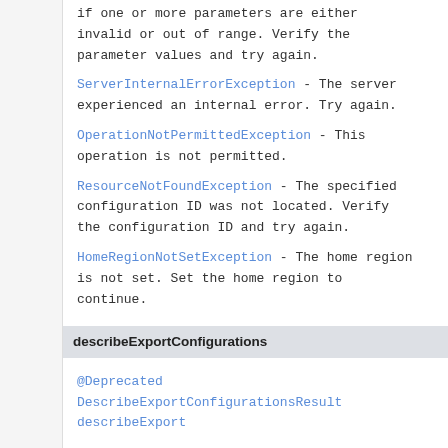if one or more parameters are either invalid or out of range. Verify the parameter values and try again.
ServerInternalErrorException - The server experienced an internal error. Try again.
OperationNotPermittedException - This operation is not permitted.
ResourceNotFoundException - The specified configuration ID was not located. Verify the configuration ID and try again.
HomeRegionNotSetException - The home region is not set. Set the home region to continue.
describeExportConfigurations
@Deprecated
DescribeExportConfigurationsResult describeExport
Deprecated.